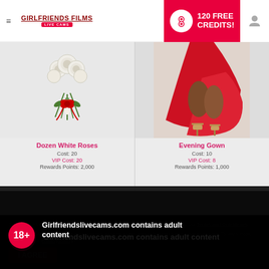≡ GIRLFRIENDS FILMS LIVE CAMS | 120 FREE CREDITS!
[Figure (photo): Dozen White Roses bouquet with red ribbon on gray background]
Dozen White Roses
Cost: 20
VIP Cost: 20
Rewards Points: 2,000
[Figure (photo): Evening Gown - woman in red gown, white background]
Evening Gown
Cost: 10
VIP Cost: 8
Rewards Points: 1,000
18+
Girlfriendslivecams.com contains adult content
By using the site, you acknowledge you have read our Privacy Policy, and agree to our Terms and Conditions.
We use cookies to optimize your experience, analyze traffic, and deliver more personalized service. To learn more, please see our Privacy Policy.
I AGREE